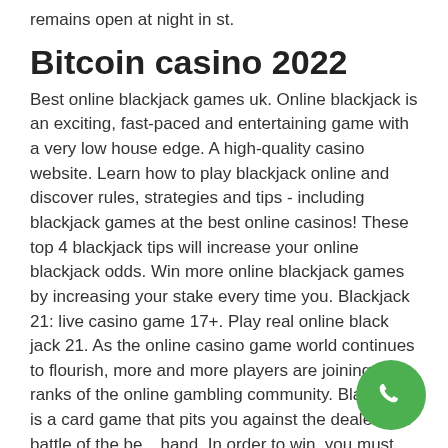remains open at night in st.
Bitcoin casino 2022
Best online blackjack games uk. Online blackjack is an exciting, fast-paced and entertaining game with a very low house edge. A high-quality casino website. Learn how to play blackjack online and discover rules, strategies and tips - including blackjack games at the best online casinos! These top 4 blackjack tips will increase your online blackjack odds. Win more online blackjack games by increasing your stake every time you. Blackjack 21: live casino game 17+. Play real online black jack 21. As the online casino game world continues to flourish, more and more players are joining the ranks of the online gambling community. Blackjack is a card game that pits you against the dealer in a battle of the best hand. In order to win, you must have a higher score than the dealer, up to a. Most
[Figure (other): Green circular phone/call button with white phone icon]